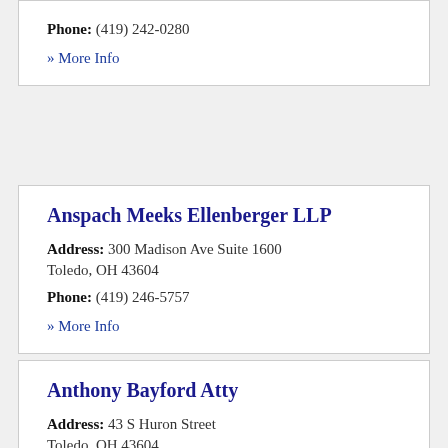Phone: (419) 242-0280
» More Info
Anspach Meeks Ellenberger LLP
Address: 300 Madison Ave Suite 1600 Toledo, OH 43604
Phone: (419) 246-5757
» More Info
Anthony Bayford Atty
Address: 43 S Huron Street Toledo, OH 43604
Phone: (419) 472-0077